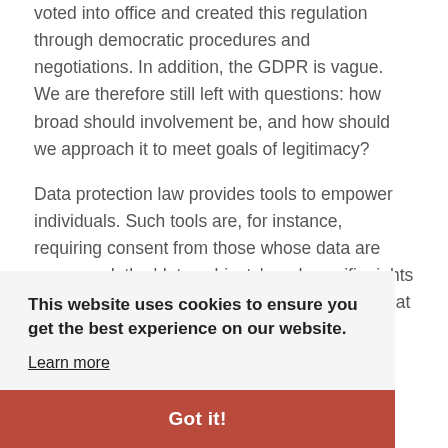voted into office and created this regulation through democratic procedures and negotiations. In addition, the GDPR is vague. We are therefore still left with questions: how broad should involvement be, and how should we approach it to meet goals of legitimacy?

Data protection law provides tools to empower individuals. Such tools are, for instance, requiring consent from those whose data are processed, the 'data subjects', and specific rights for data subjects to have some control over what …ant, by …e …w to is how …ut the …sing operation, even before their data are processed.
This website uses cookies to ensure you get the best experience on our website.
Learn more
Got it!